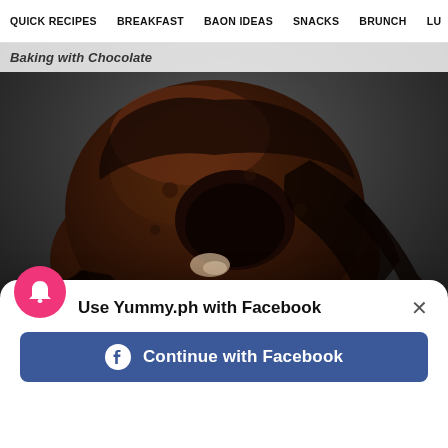QUICK RECIPES | BREAKFAST | BAON IDEAS | SNACKS | BRUNCH | LU...
Baking with Chocolate
[Figure (photo): Close-up photo of a chocolate lava cake with molten chocolate oozing out, covered in dark chocolate ganache, on a dark background]
Use Yummy.ph with Facebook
Continue with Facebook